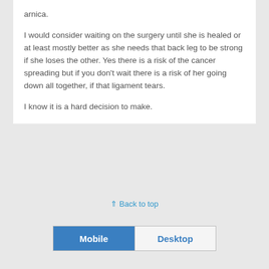arnica.
I would consider waiting on the surgery until she is healed or at least mostly better as she needs that back leg to be strong if she loses the other. Yes there is a risk of the cancer spreading but if you don't wait there is a risk of her going down all together, if that ligament tears.
I know it is a hard decision to make.
Back to top
Mobile  Desktop